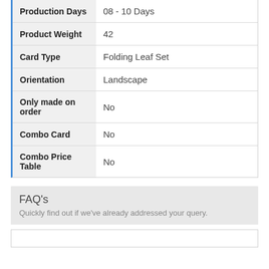| Property | Value |
| --- | --- |
| Production Days | 08 - 10 Days |
| Product Weight | 42 |
| Card Type | Folding Leaf Set |
| Orientation | Landscape |
| Only made on order | No |
| Combo Card | No |
| Combo Price Table | No |
FAQ's
Quickly find out if we've already addressed your query.